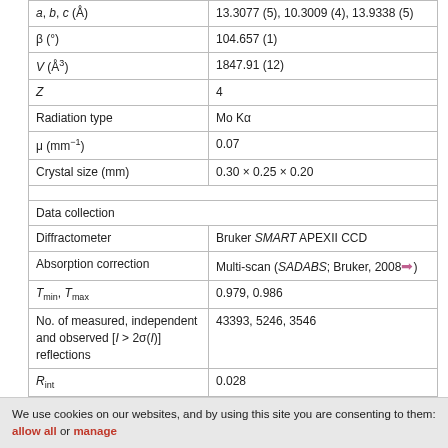| a, b, c (Å) | 13.3077 (5), 10.3009 (4), 13.9338 (5) |
| β (°) | 104.657 (1) |
| V (Å³) | 1847.91 (12) |
| Z | 4 |
| Radiation type | Mo Kα |
| μ (mm⁻¹) | 0.07 |
| Crystal size (mm) | 0.30 × 0.25 × 0.20 |
| Data collection |  |
| Diffractometer | Bruker SMART APEXII CCD |
| Absorption correction | Multi-scan (SADABS; Bruker, 2008→) |
| Tmin, Tmax | 0.979, 0.986 |
| No. of measured, independent and observed [I > 2σ(I)] reflections | 43393, 5246, 3546 |
| Rint | 0.028 |
| (sin θ/λ)max (Å⁻¹) | 0.707 |
| Refinement |  |
| R[F² > 2σ(F²)], wR(F²), S | 0.053, 0.169, 1.02 |
| No. of reflections | 5246 |
| No. of parameters | 221 |
We use cookies on our websites, and by using this site you are consenting to them: allow all or manage